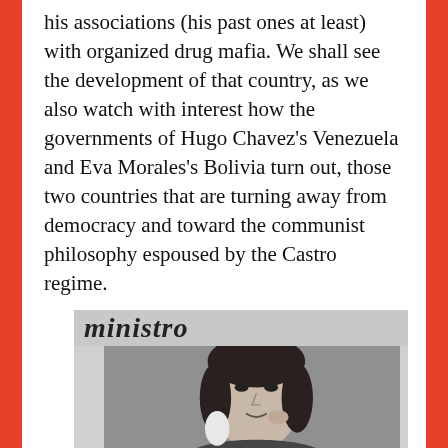his associations (his past ones at least) with organized drug mafia. We shall see the development of that country, as we also watch with interest how the governments of Hugo Chavez's Venezuela and Eva Morales's Bolivia turn out, those two countries that are turning away from democracy and toward the communist philosophy espoused by the Castro regime.
[Figure (photo): A grayscale newspaper or magazine clipping showing a woman's face. The header text reads 'ministro' in italic serif font. A black-and-white photograph of a dark-haired woman is visible below the heading.]